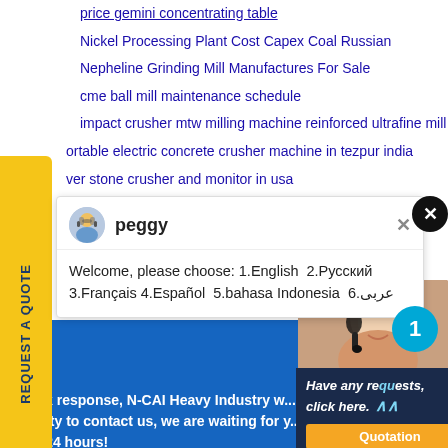price gemini concentrating table
Nickel Processing Plant Cost Capex Coal Russian
Nepheline Grinding Mill Manufactures For Sale
cme ball mill maintenance schedule
impact crusher mtw milling machine reinforced ultrafine mill
portable electric concrete crusher machine in tezpur india
ver stone crusher and monitor in usa
[Figure (screenshot): Chat popup with avatar of peggy showing welcome message: Welcome, please choose: 1.English 2.Русский 3.Français 4.Español 5.bahasa Indonesia 6.عربى]
REQUEST A QUOTE
Quick response, N-CAI Heavy Industry w... society to contact us, we are waiting for y... 365x24 hours!
[Figure (photo): Customer service representative wearing headset, smiling]
Have any requests, click here.
Quotation